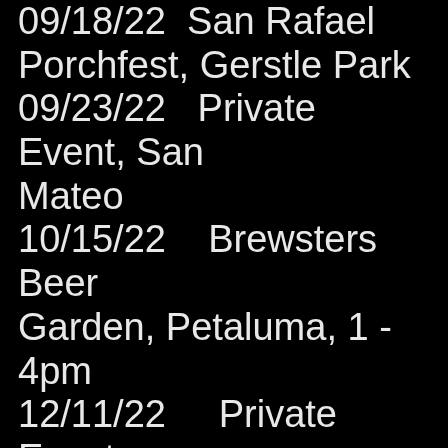09/18/22  San Rafael Porchfest, Gerstle Park
09/23/22   Private Event, San Mateo
10/15/22    Brewsters Beer Garden, Petaluma, 1 - 4pm
12/11/22    Private Event, Sbragia Winery, Geyserville